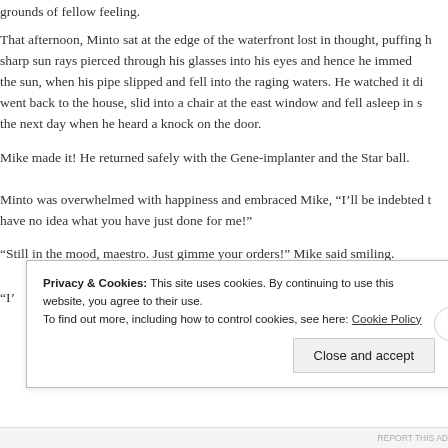grounds of fellow feeling.
That afternoon, Minto sat at the edge of the waterfront lost in thought, puffing h sharp sun rays pierced through his glasses into his eyes and hence he immed the sun, when his pipe slipped and fell into the raging waters. He watched it di went back to the house, slid into a chair at the east window and fell asleep in s the next day when he heard a knock on the door.
Mike made it! He returned safely with the Gene-implanter and the Star ball.
Minto was overwhelmed with happiness and embraced Mike, “I’ll be indebted t have no idea what you have just done for me!”
“Still in the mood, maestro. Just gimme your orders!” Mike said smiling.
“I’…
Privacy & Cookies: This site uses cookies. By continuing to use this website, you agree to their use.
To find out more, including how to control cookies, see here: Cookie Policy
Close and accept